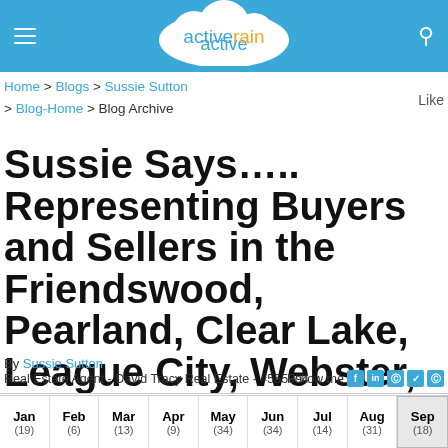[Figure (screenshot): ActiveRain website header with blue background, hamburger menu icon on left, search icon on right, and cloud logo with 'activerain' text in center]
Home > Blogs > Sussie Sutton > Blog-Home > Blog Archive
Sussie Says….. Representing Buyers and Sellers in the Friendswood, Pearland, Clear Lake, League City, Webster, and Bay Area.
By Sussie Sutton
Real Estate Agent - David Tracy Real Estate - #555994
Follow me
ARCHIVED BLOG POSTS
2013
| Jan | Feb | Mar | Apr | May | Jun | Jul | Aug | Sep |
| --- | --- | --- | --- | --- | --- | --- | --- | --- |
| (19) | (6) | (13) | (9) | (34) | (34) | (14) | (31) | (18) |